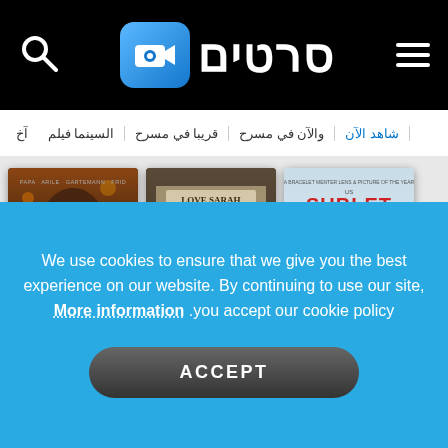[Figure (screenshot): Website header with search icon on left, Hebrew/Arabic logo text 'סרטים' with camera icon in center, hamburger menu on right, all on black background]
שאהד אלآن | ואלآן פי מסרח | קריבא פי מסרח | אלסינמא פילם | آخ
[Figure (photo): Three movie posters side by side: Traumfabrik (romantic couple), Love Sarah (bakery staff), Sublet (two men at table)]
We use cookies to ensure that we give you the best experience on our website. By continuing to use our site, More information .you accept our cookie policy
ACCEPT